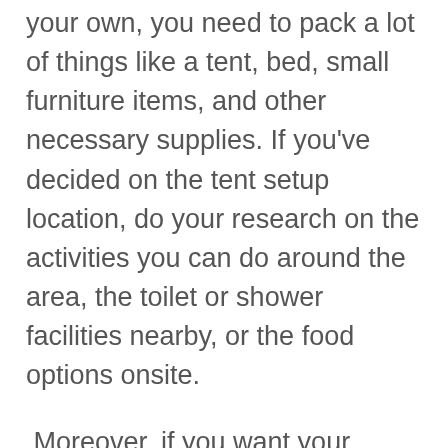your own, you need to pack a lot of things like a tent, bed, small furniture items, and other necessary supplies. If you've decided on the tent setup location, do your research on the activities you can do around the area, the toilet or shower facilities nearby, or the food options onsite.
Moreover, if you want your glamping experience to be hassle-free with readily set up tents and amenities, you can rent a tent, too! Whether you want a romantic trip or an adventure with your family, below is a list of